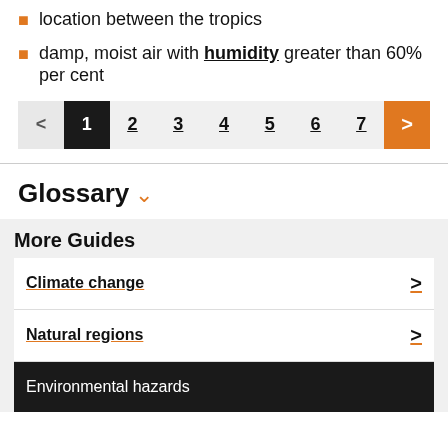location between the tropics
damp, moist air with humidity greater than 60% per cent
Pagination: < 1 2 3 4 5 6 7 >
Glossary
More Guides
Climate change >
Natural regions >
Environmental hazards